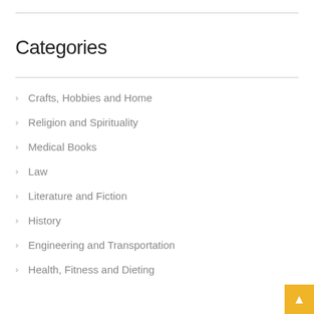Categories
Crafts, Hobbies and Home
Religion and Spirituality
Medical Books
Law
Literature and Fiction
History
Engineering and Transportation
Health, Fitness and Dieting